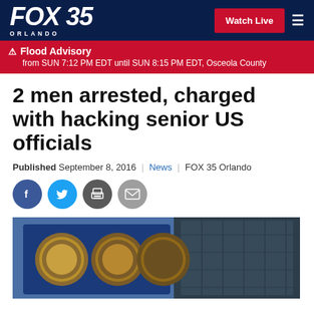FOX 35 ORLANDO | Watch Live
⚠ Flood Advisory from SUN 7:12 PM EDT until SUN 8:15 PM EDT, Osceola County
2 men arrested, charged with hacking senior US officials
Published September 8, 2016 | News | FOX 35 Orlando
[Figure (photo): Building exterior showing official seals, likely NSA or CIA headquarters]
[Figure (infographic): Social share icons: Facebook, Twitter, Print, Email]